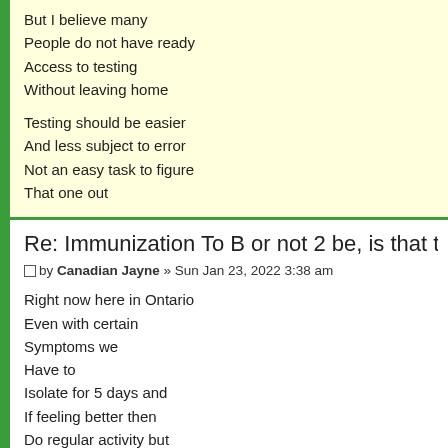But I believe many
People do not have ready
Access to testing
Without leaving home

Testing should be easier
And less subject to error
Not an easy task to figure
That one out
Re: Immunization To B or not 2 be, is that the quest
by Canadian Jayne » Sun Jan 23, 2022 3:38 am
Right now here in Ontario
Even with certain
Symptoms we
Have to
Isolate for 5 days and
If feeling better then
Do regular activity but
If worse get tested
That's how I understand it
5 is more tolerable than 10
That's for sure